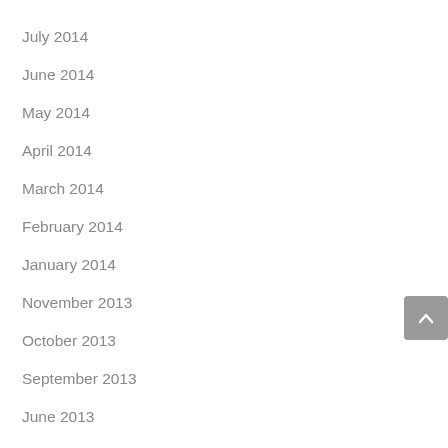July 2014
June 2014
May 2014
April 2014
March 2014
February 2014
January 2014
November 2013
October 2013
September 2013
June 2013
February 2013